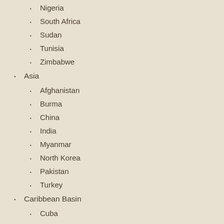Nigeria
South Africa
Sudan
Tunisia
Zimbabwe
Asia
Afghanistan
Burma
China
India
Myanmar
North Korea
Pakistan
Turkey
Caribbean Basin
Cuba
Central America
El Salvador
Guatemala